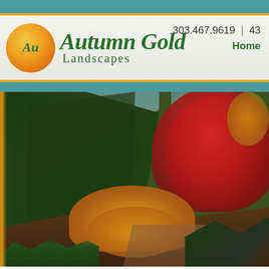Autumn Gold Landscapes 303.467.9619 | 43... Home
[Figure (photo): Autumn landscape photograph showing evergreen pine trees on the left, a large red-leafed deciduous tree on the upper right, golden/amber bushes in the foreground center, and brown dirt ground, representing a landscape design by Autumn Gold Landscapes.]